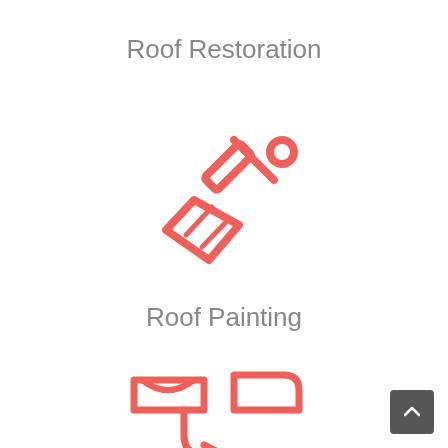Roof Restoration
[Figure (illustration): Red outline paint brush icon tilted diagonally]
Roof Painting
[Figure (illustration): Red outline gutter/downpipe icon at bottom of page]
[Figure (illustration): Back to top button arrow in dark grey rounded square]